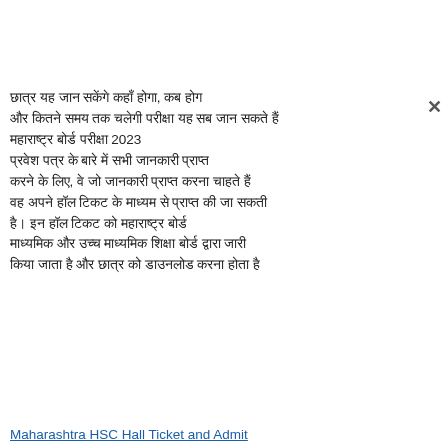छात्र यह जान सकेंगे कहाँ होगा, कब होगा और कितने समय तक चलेगी परीक्षा यह सब जान सकते हैं महाराष्ट्र बोर्ड परीक्षा 2023 प्रवेश पत्र के बारे में सभी जानकारी प्राप्त करने के लिए, वे जो जानकारी प्राप्त करना चाहते हैं वह अपने हॉल टिकट के माध्यम से प्राप्त की जा सकती है। इन हॉल टिकट को महाराष्ट्र बोर्ड माध्यमिक और उच्च माध्यमिक शिक्षा बोर्ड द्वारा जारी किया जाता है और छात्र को डाउनलोड करना होता है
Maharashtra HSC Hall Ticket and Admit